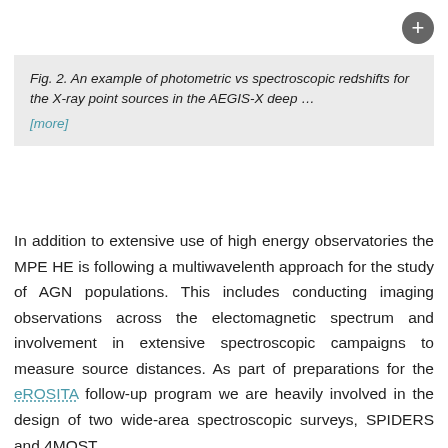Fig. 2. An example of photometric vs spectroscopic redshifts for the X-ray point sources in the AEGIS-X deep … [more]
In addition to extensive use of high energy observatories the MPE HE is following a multiwavelenth approach for the study of AGN populations. This includes conducting imaging observations across the electomagnetic spectrum and involvement in extensive spectroscopic campaigns to measure source distances. As part of preparations for the eROSITA follow-up program we are heavily involved in the design of two wide-area spectroscopic surveys, SPIDERS and 4MOST.